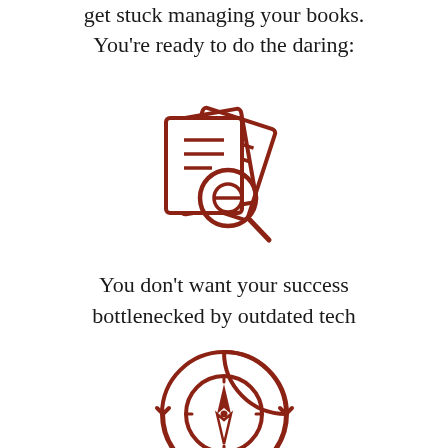get stuck managing your books. You're ready to do the daring:
[Figure (illustration): Icon of stacked documents/papers with a magnifying glass overlay, drawn in dark red/brown outline style]
You don't want your success bottlenecked by outdated tech
[Figure (illustration): Icon of a compass with circular arrows around it, drawn in dark red/brown outline style]